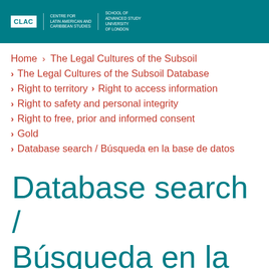[Figure (logo): CLAC Centre for Latin American and Caribbean Studies logo with School of Advanced Study, University of London text]
Home > The Legal Cultures of the Subsoil
> The Legal Cultures of the Subsoil Database
> Right to territory > Right to access information
> Right to safety and personal integrity
> Right to free, prior and informed consent
> Gold
> Database search / Búsqueda en la base de datos
Database search / Búsqueda en la base